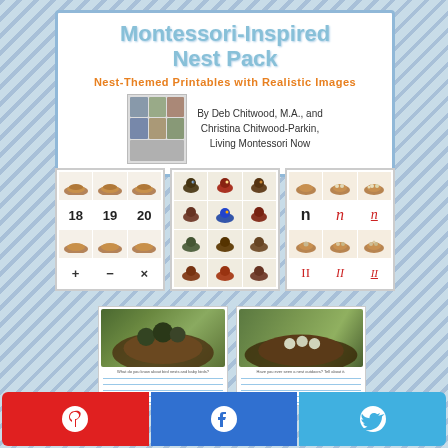Montessori-Inspired Nest Pack
Nest-Themed Printables with Realistic Images
By Deb Chitwood, M.A., and Christina Chitwood-Parkin, Living Montessori Now
[Figure (illustration): Three worksheet preview cards: (1) math card with nests numbered 18, 19, 20 and symbols + - x; (2) bird matching grid with colored birds and nests; (3) letter/handwriting card showing 'n' in print and cursive forms with Roman numerals]
[Figure (photo): Two writing worksheet previews with photos of bird nests with baby birds and eggs, and lined writing areas below]
What do you know about bird nests and baby birds?
Have you ever seen a nest outdoors? Tell about it.
[Figure (other): Three social sharing buttons: Pinterest (red), Facebook (blue), Twitter (light blue)]